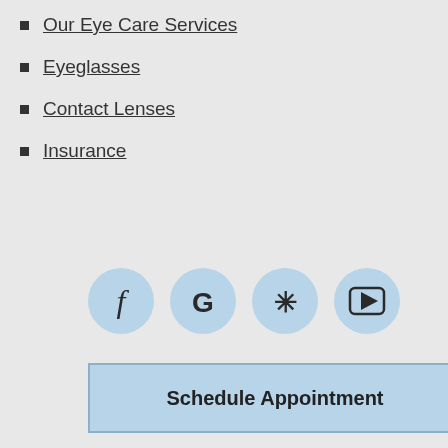Our Eye Care Services
Eyeglasses
Contact Lenses
Insurance
[Figure (illustration): Four social media icon circles: Facebook (f), Google (G), Yelp (asterisk/flower), YouTube (play button in square). All circles have a light blue background.]
Schedule Appointment
Search the site
Norwalk Vision Center
148 East Avenue, Suite 3C
Norwalk, CT 06851
Phone: